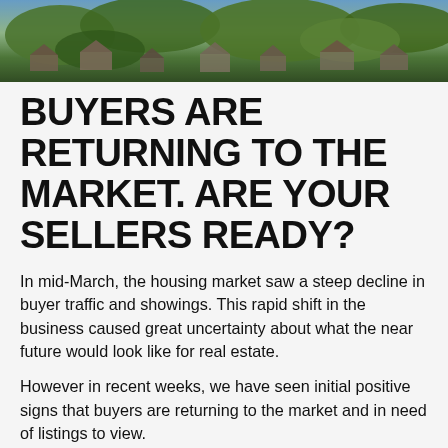[Figure (photo): Aerial view of a suburban neighborhood with rooftops and trees, slightly darker tones suggesting late afternoon light.]
BUYERS ARE RETURNING TO THE MARKET. ARE YOUR SELLERS READY?
In mid-March, the housing market saw a steep decline in buyer traffic and showings. This rapid shift in the business caused great uncertainty about what the near future would look like for real estate.
However in recent weeks, we have seen initial positive signs that buyers are returning to the market and in need of listings to view.
And while we'll continue to monitor these early indicators, it forecasts good news for the market.
According to a report from Zillow, web traffic to for sale listings...